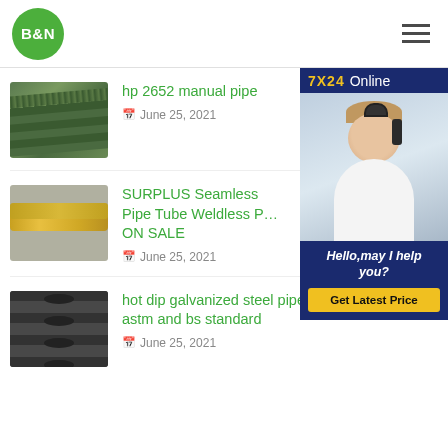B&N — navigation header with logo and hamburger menu
[Figure (photo): Thumbnail of steel pipe rods bundle]
hp 2652 manual pipe
June 25, 2021
[Figure (photo): Thumbnail of yellow seamless steel pipes]
SURPLUS Seamless Pipe Tube Weldless P... ON SALE
June 25, 2021
[Figure (photo): Sidebar chat widget with 7X24 Online and customer service representative photo, Hello may I help you? message and Get Latest Price button]
[Figure (photo): Thumbnail of hot dip galvanized steel pipes]
hot dip galvanized steel pipe under astm and bs standard
June 25, 2021